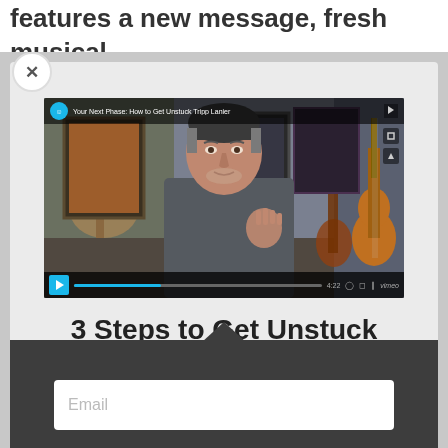features a new message, fresh musical playlist, and a consistent flowing vinyasa yoga
[Figure (screenshot): Vimeo embedded video player showing a man with gray hair speaking, titled 'Your Next Phase: How to Get Unstuck Tripp Lanier', with playback controls at bottom]
3 Steps to Get Unstuck
Minimize fear with this self coaching tool.
Watch the video now.
Email